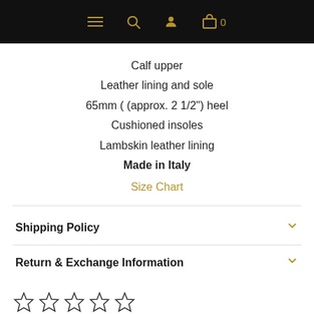Navigation bar with hamburger menu, search, account, and cart icons
Calf upper
Leather lining and sole
65mm ( (approx. 2 1/2") heel
Cushioned insoles
Lambskin leather lining
Made in Italy
Size Chart
Shipping Policy
Return & Exchange Information
[Figure (other): Five empty star rating icons]
Write a review